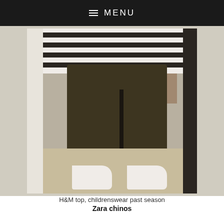≡ MENU
[Figure (photo): Mirror selfie of a person wearing a black and white striped H&M top, dark olive/brown chino trousers, and white slip-on sneakers. The photo is taken from approximately waist-down level in a home setting.]
H&M top, childrenswear past season
Zara chinos